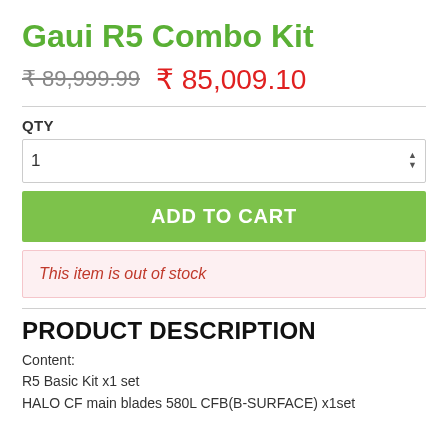Gaui R5 Combo Kit
₹ 89,999.99  ₹ 85,009.10
QTY
1
ADD TO CART
This item is out of stock
PRODUCT DESCRIPTION
Content:
R5 Basic Kit x1 set
HALO CF main blades 580L CFB(B-SURFACE) x1set